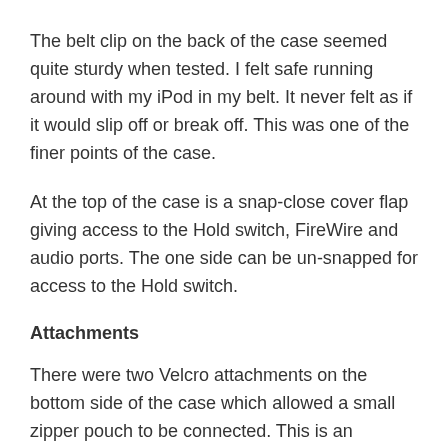The belt clip on the back of the case seemed quite sturdy when tested. I felt safe running around with my iPod in my belt. It never felt as if it would slip off or break off. This was one of the finer points of the case.
At the top of the case is a snap-close cover flap giving access to the Hold switch, FireWire and audio ports. The one side can be un-snapped for access to the Hold switch.
Attachments
There were two Velcro attachments on the bottom side of the case which allowed a small zipper pouch to be connected. This is an excellent way to store the